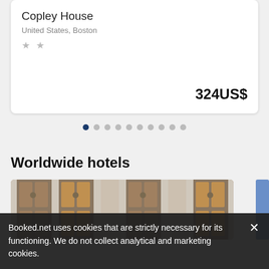Copley House
United States, Boston
★ ★
324US$
[Figure (other): Pagination dots row with 10 dots, first dot active (dark navy), remaining 9 dots light grey]
Worldwide hotels
[Figure (photo): Hotel exterior facade photo showing ornate door panels with brass knobs and chains, brown/gold paneling against light grey wall]
Booked.net uses cookies that are strictly necessary for its functioning. We do not collect analytical and marketing cookies.